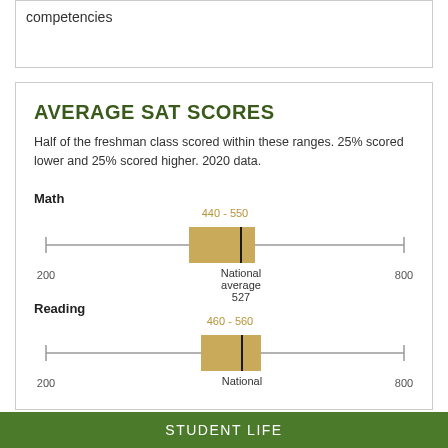competencies
AVERAGE SAT SCORES
Half of the freshman class scored within these ranges. 25% scored lower and 25% scored higher. 2020 data.
[Figure (other): Box plot showing average SAT Math scores. Range box from 440-550, national average 527, scale 200-800.]
[Figure (other): Box plot showing average SAT Reading scores. Range box from 460-560, national average shown, scale 200-800.]
STUDENT LIFE